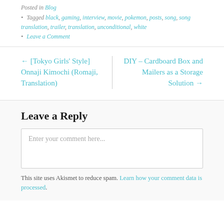Posted in Blog
Tagged black, gaming, interview, movie, pokemon, posts, song, song translation, trailer, translation, unconditional, white
Leave a Comment
← [Tokyo Girls' Style] Onnaji Kimochi (Romaji, Translation)
DIY – Cardboard Box and Mailers as a Storage Solution →
Leave a Reply
Enter your comment here...
This site uses Akismet to reduce spam. Learn how your comment data is processed.